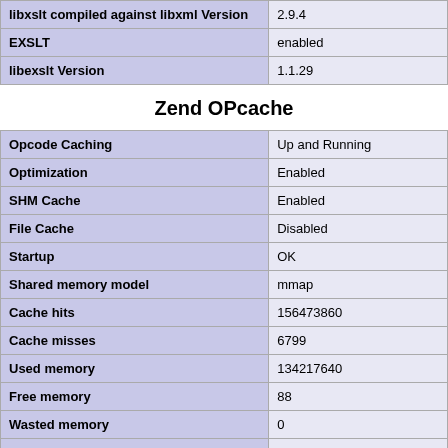|  |  |
| --- | --- |
| libxslt compiled against libxml Version | 2.9.4 |
| EXSLT | enabled |
| libexslt Version | 1.1.29 |
Zend OPcache
|  |  |
| --- | --- |
| Opcode Caching | Up and Running |
| Optimization | Enabled |
| SHM Cache | Enabled |
| File Cache | Disabled |
| Startup | OK |
| Shared memory model | mmap |
| Cache hits | 156473860 |
| Cache misses | 6799 |
| Used memory | 134217640 |
| Free memory | 88 |
| Wasted memory | 0 |
| Interned Strings Used memory | 8388584 |
| Interned Strings Free memory | 24 |
| Cached scripts | 3795 |